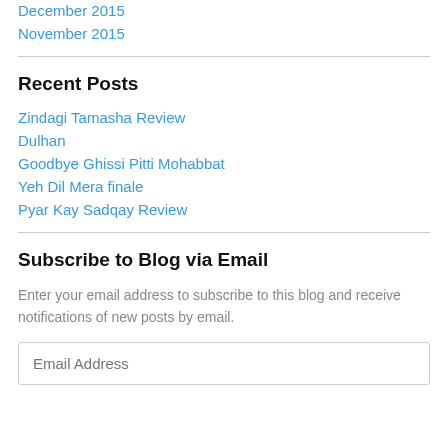December 2015
November 2015
Recent Posts
Zindagi Tamasha Review
Dulhan
Goodbye Ghissi Pitti Mohabbat
Yeh Dil Mera finale
Pyar Kay Sadqay Review
Subscribe to Blog via Email
Enter your email address to subscribe to this blog and receive notifications of new posts by email.
Email Address